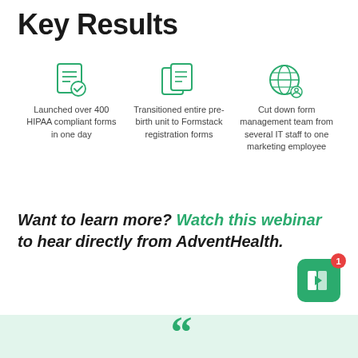Key Results
[Figure (infographic): Three teal/green outlined icons in a row: (1) a document with a checkmark, (2) two overlapping documents, (3) a globe with a person silhouette]
Launched over 400 HIPAA compliant forms in one day
Transitioned entire pre-birth unit to Formstack registration forms
Cut down form management team from several IT staff to one marketing employee
Want to learn more? Watch this webinar to hear directly from AdventHealth.
[Figure (logo): Formstack app badge icon — green square with white lightning bolt, red notification badge showing 1]
[Figure (illustration): Large green quotation marks on a light green bar at the bottom of the page]